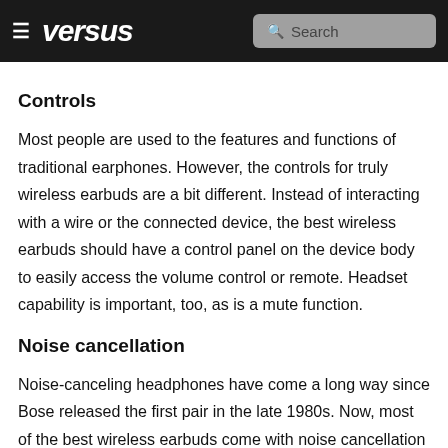≡ versus  Search
Controls
Most people are used to the features and functions of traditional earphones. However, the controls for truly wireless earbuds are a bit different. Instead of interacting with a wire or the connected device, the best wireless earbuds should have a control panel on the device body to easily access the volume control or remote. Headset capability is important, too, as is a mute function.
Noise cancellation
Noise-canceling headphones have come a long way since Bose released the first pair in the late 1980s. Now, most of the best wireless earbuds come with noise cancellation